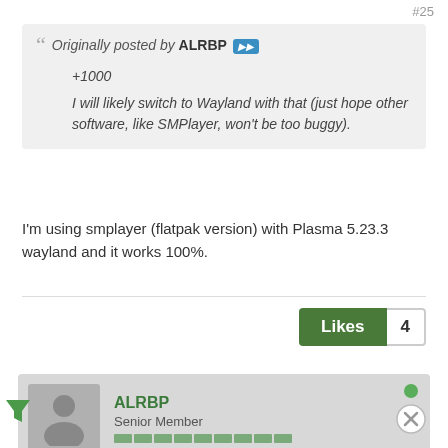#25
Originally posted by ALRBP
+1000
I will likely switch to Wayland with that (just hope other software, like SMPlayer, won't be too buggy).
I'm using smplayer (flatpak version) with Plasma 5.23.3 wayland and it works 100%.
Likes 4
ALRBP
Senior Member